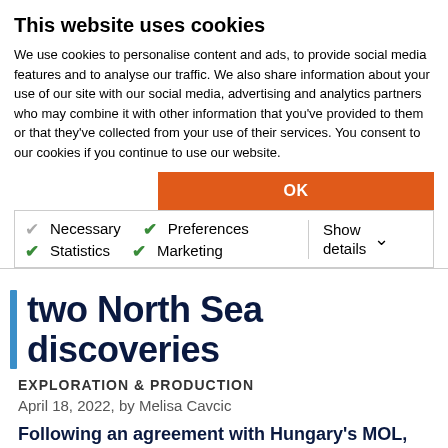This website uses cookies
We use cookies to personalise content and ads, to provide social media features and to analyse our traffic. We also share information about your use of our site with our social media, advertising and analytics partners who may combine it with other information that you've provided to them or that they've collected from your use of their services. You consent to our cookies if you continue to use our website.
OK
Necessary  Preferences  Statistics  Marketing  Show details
two North Sea discoveries
EXPLORATION & PRODUCTION
April 18, 2022, by Melisa Cavcic
Following an agreement with Hungary's MOL, Norway's Lime Petroleum will expand its North Sea portfolio with